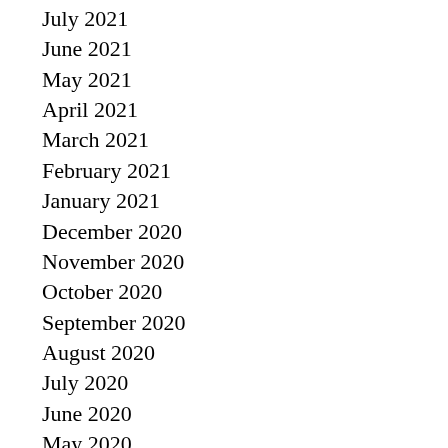July 2021
June 2021
May 2021
April 2021
March 2021
February 2021
January 2021
December 2020
November 2020
October 2020
September 2020
August 2020
July 2020
June 2020
May 2020
April 2020
March 2020
February 2020